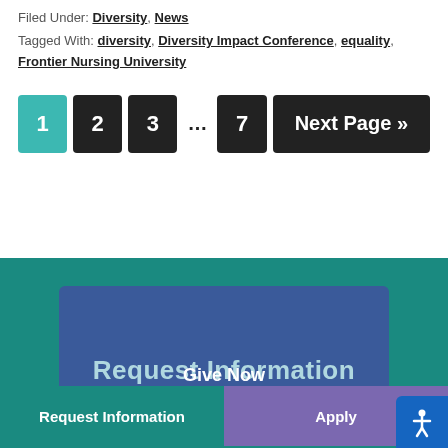Filed Under: Diversity, News
Tagged With: diversity, Diversity Impact Conference, equality, Frontier Nursing University
1 2 3 … 7 Next Page »
Request Information
Request Information
Apply
Give Now